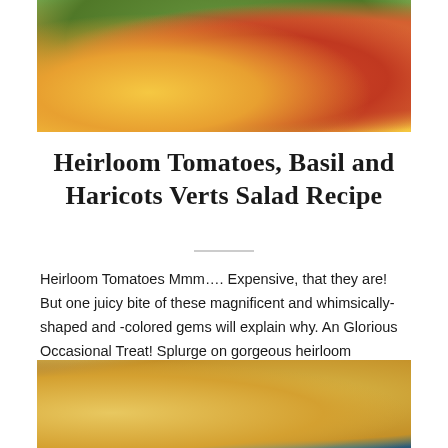[Figure (photo): Close-up photo of a heirloom tomato salad with colorful sliced tomatoes, cherry tomatoes, arugula, and nuts on a white plate]
Heirloom Tomatoes, Basil and Haricots Verts Salad Recipe
Heirloom Tomatoes Mmm.... Expensive, that they are! But one juicy bite of these magnificent and whimsically-shaped and -colored gems will explain why. An Glorious Occasional Treat! Splurge on gorgeous heirloom tomatoes: slice 'em, drizzle...
[Figure (photo): Close-up photo of a dish with meat or seafood on a teal/turquoise background with purple accents]